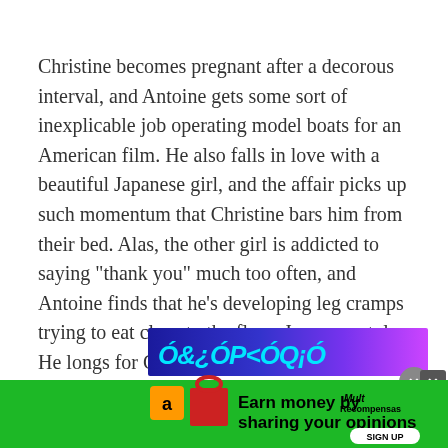Christine becomes pregnant after a decorous interval, and Antoine gets some sort of inexplicable job operating model boats for an American film. He also falls in love with a beautiful Japanese girl, and the affair picks up such momentum that Christine bars him from their bed. Alas, the other girl is addicted to saying "thank you" much too often, and Antoine finds that he's developing leg cramps trying to eat close to the floor, Japanese style. He longs for Christine again, and she for him, and the movie has a happy ending.
ADVERTISEMENT
[Figure (screenshot): Advertisement banner showing colorful text on purple/blue gradient background (top portion visible), overlaid by a green advertisement bar reading 'Earn money by sharing your opinions' with Amazon logo, Mult Recompensas logo, and SIGN UP button. Two close buttons visible.]